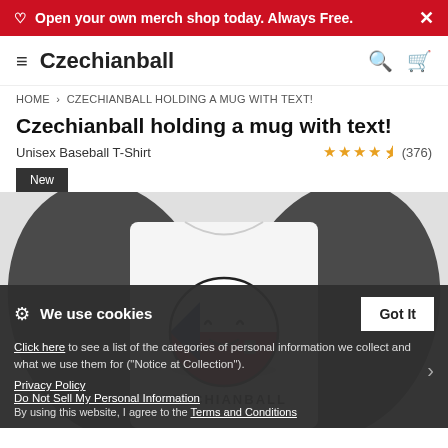Open your own merch shop today. Always Free.
Czechianball
HOME > CZECHIANBALL HOLDING A MUG WITH TEXT!
Czechianball holding a mug with text!
Unisex Baseball T-Shirt   ★★★★½ (376)
New
[Figure (photo): A baseball t-shirt with dark grey sleeves and white body, featuring a round Czech flag character (Czechianball) holding a mug, with text CZECHIANBALL below the graphic.]
We use cookies
Click here to see a list of the categories of personal information we collect and what we use them for ("Notice at Collection").
Privacy Policy
Do Not Sell My Personal Information
By using this website, I agree to the Terms and Conditions